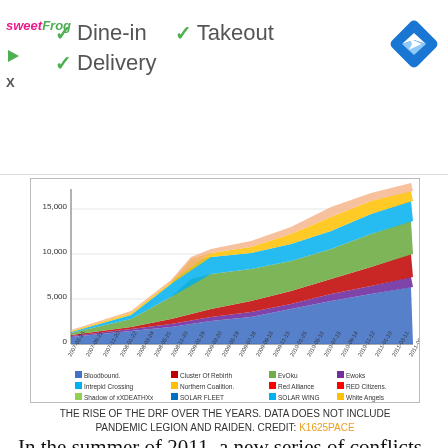[Figure (other): Advertisement banner for sweetFrog showing Dine-in, Takeout, and Delivery checkmarks with a navigation arrow icon]
[Figure (area-chart): Stacked area chart showing growth from 2007 to 2011, with multiple colored areas representing different alliances including Bloodbound, Cluster of Rebirth, EvOku, Ewoks, Intrepid Crossing, Northern Coalition, Red Alliance, RED Citizens, Shadow of xXDEATHXx, SOLAR FLEET, SOLAR WING, White Angels, White Noise]
THE RISE OF THE DRF OVER THE YEARS. DATA DOES NOT INCLUDE PANDEMIC LEGION AND RAIDEN. CREDIT: K1625PACE
In the summer of 2011, a new series of conflicts in the south would coalesce into a phenomenon that would be called the